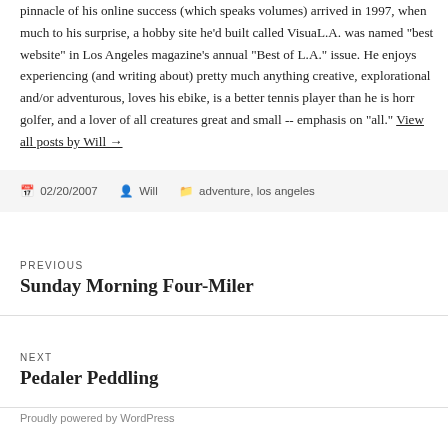pinnacle of his online success (which speaks volumes) arrived in 1997, when much to his surprise, a hobby site he'd built called VisuaL.A. was named "best website" in Los Angeles magazine's annual "Best of L.A." issue. He enjoys experiencing (and writing about) pretty much anything creative, explorational and/or adventurous, loves his ebike, is a better tennis player than he is horr golfer, and a lover of all creatures great and small -- emphasis on "all." View all posts by Will →
02/20/2007  Will  adventure, los angeles
PREVIOUS Sunday Morning Four-Miler
NEXT Pedaler Peddling
Proudly powered by WordPress